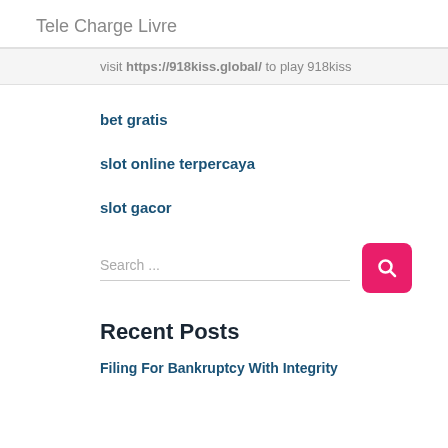Tele Charge Livre
visit https://918kiss.global/ to play 918kiss
bet gratis
slot online terpercaya
slot gacor
Search ...
Recent Posts
Filing For Bankruptcy With Integrity